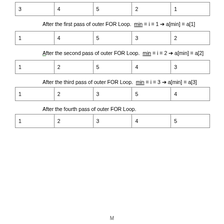| 3 | 4 | 5 | 2 | 1 |
After the first pass of outer FOR Loop.  min = i = 1 → a[min] = a[1]
| 1 | 4 | 5 | 3 | 2 |
After the second pass of outer FOR Loop.  min = i = 2 → a[min] = a[2]
| 1 | 2 | 5 | 4 | 3 |
After the third pass of outer FOR Loop.  min = i = 3 → a[min] = a[3]
| 1 | 2 | 3 | 5 | 4 |
After the fourth pass of outer FOR Loop.
| 1 | 2 | 3 | 4 | 5 |
M